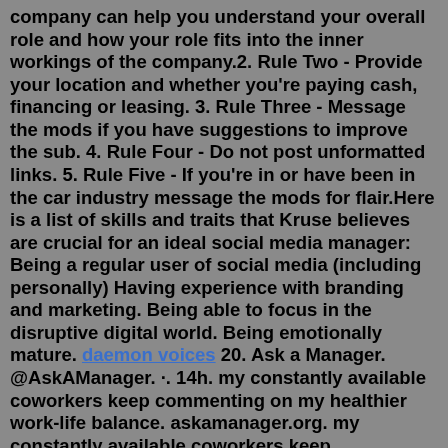company can help you understand your overall role and how your role fits into the inner workings of the company.2. Rule Two - Provide your location and whether you're paying cash, financing or leasing. 3. Rule Three - Message the mods if you have suggestions to improve the sub. 4. Rule Four - Do not post unformatted links. 5. Rule Five - If you're in or have been in the car industry message the mods for flair.Here is a list of skills and traits that Kruse believes are crucial for an ideal social media manager: Being a regular user of social media (including personally) Having experience with branding and marketing. Being able to focus in the disruptive digital world. Being emotionally mature. daemon voices 20. Ask a Manager. @AskAManager. ·. 14h. my constantly available coworkers keep commenting on my healthier work-life balance. askamanager.org. my constantly available coworkers keep commenting on my healthier work-life balance. A reader writes: I work in an organization with a